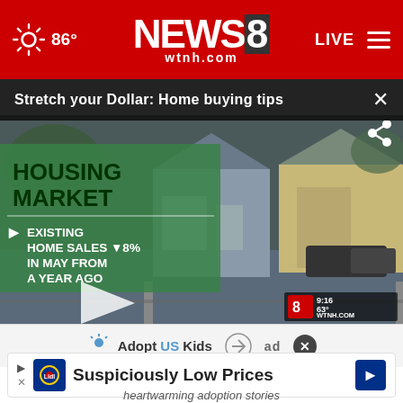86° NEWS8 wtnh.com LIVE
Stretch your Dollar: Home buying tips
[Figure (screenshot): Video player showing housing market news segment. Green overlay reads: HOUSING MARKET. EXISTING HOME SALES ▼8% IN MAY FROM A YEAR AGO. Aerial drone view of suburban homes in background. Play button visible. WTNH watermark at bottom right showing 9:16, 63°, WTNH.COM.]
[Figure (advertisement): AdoptUSKids advertisement banner with figure logo, HHS logo, and close button]
[Figure (advertisement): Lidl advertisement: Suspiciously Low Prices with Lidl logo and navigation arrow]
heartwarming adoption stories